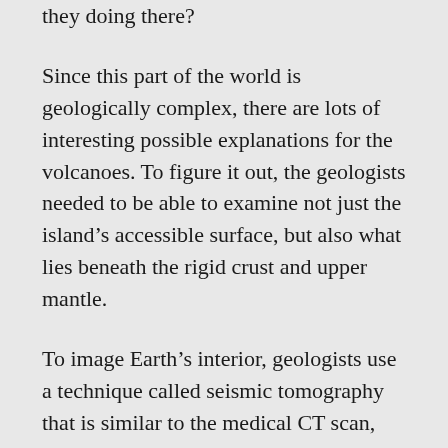they doing there?
Since this part of the world is geologically complex, there are lots of interesting possible explanations for the volcanoes. To figure it out, the geologists needed to be able to examine not just the island’s accessible surface, but also what lies beneath the rigid crust and upper mantle.
To image Earth’s interior, geologists use a technique called seismic tomography that is similar to the medical CT scan, probing the earth’s stricture with seismic waves from distant earthquakes and ambient noise.
But remote and politically unstable Madagascar